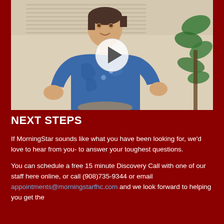[Figure (photo): A woman with short dark hair wearing a blue patterned top, seated indoors near a plant and window blinds. A circular play button overlay is centered on the image, indicating a video thumbnail.]
NEXT STEPS
If MorningStar sounds like what you have been looking for, we'd love to hear from you- to answer your toughest questions.
You can schedule a free 15 minute Discovery Call with one of our staff here online, or call (908)735-9344 or email appointments@morningstarfhc.com and we look forward to helping you get the